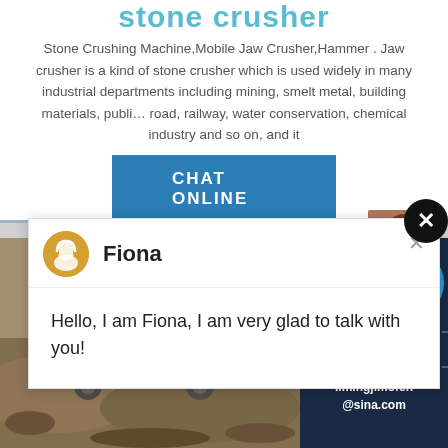stone crusher
Stone Crushing Machine,Mobile Jaw Crusher,Hammer . Jaw crusher is a kind of stone crusher which is used widely in many industrial departments including mining, smelt metal, building materials, publi… road, railway, water conservation, chemical industry and so on, and it
CHAT ONLINE
[Figure (screenshot): Chat popup with avatar icon and agent named Fiona]
Fiona
Hello, I am Fiona, I am very glad to talk with you!
[Figure (photo): Mining stone crusher machinery at a quarry site]
Have any requests, click here
Enquiry
limingjlmofen@sina.com